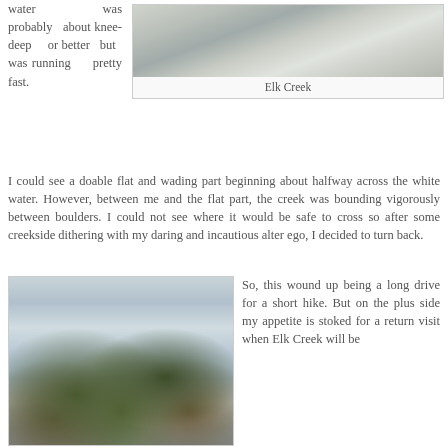water was probably about knee-deep or better but was running pretty fast.
[Figure (photo): Photograph of Elk Creek showing white water rushing over rocks]
Elk Creek
I could see a doable flat and wading part beginning about halfway across the white water. However, between me and the flat part, the creek was bounding vigorously between boulders. I could not see where it would be safe to cross so after some creekside dithering with my daring and incautious alter ego, I decided to turn back.
[Figure (photo): Photograph of Elk Creek with mossy boulders and rushing white water]
So, this wound up being a long drive for a short hike. But on the plus side my appetite is stoked for a return visit when Elk Creek will be